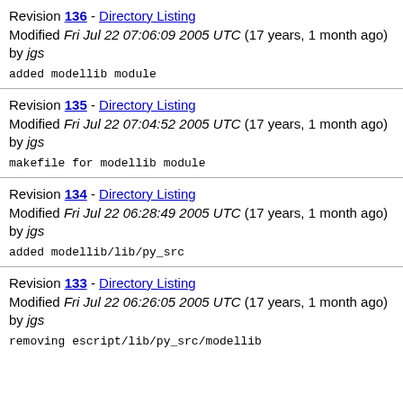Revision 136 - Directory Listing
Modified Fri Jul 22 07:06:09 2005 UTC (17 years, 1 month ago) by jgs
added modellib module
Revision 135 - Directory Listing
Modified Fri Jul 22 07:04:52 2005 UTC (17 years, 1 month ago) by jgs
makefile for modellib module
Revision 134 - Directory Listing
Modified Fri Jul 22 06:28:49 2005 UTC (17 years, 1 month ago) by jgs
added modellib/lib/py_src
Revision 133 - Directory Listing
Modified Fri Jul 22 06:26:05 2005 UTC (17 years, 1 month ago) by jgs
removing escript/lib/py_src/modellib